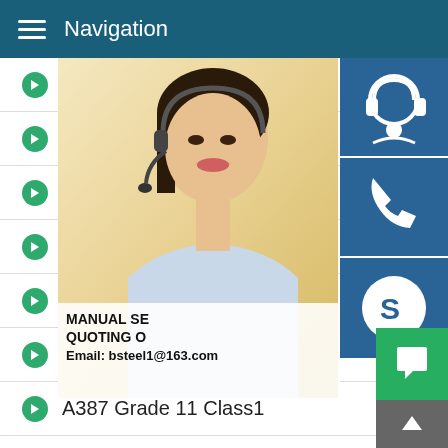Navigation
09CuPCrNi-A
05CuPCrNi
Q355GNH
Q355NH
A204 Grade B
A285 Grade C
A387 Grade 11 Class1
CA387 Grade 11 Class2
A387 Grade 12 Class1
BUILDING-LIKE SAND-MAKER
A387 Grade 12 Class2
[Figure (photo): Customer service representative woman with headset, with blue icon buttons for support, phone, and Skype, and promotional text showing MANUAL SE... QUOTING O... Email: bsteel1@163.com]